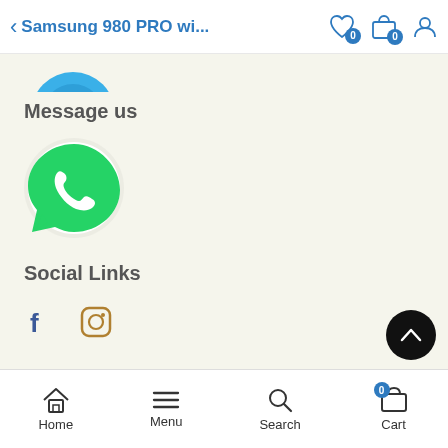Samsung 980 PRO wi...
[Figure (illustration): Partial view of a product image (blue circular shape) at top of scrolled page]
Message us
[Figure (logo): WhatsApp logo - green speech bubble with white phone icon]
Social Links
[Figure (illustration): Social media icons: Facebook (f) and Instagram (camera icon)]
Home  Menu  Search  Cart